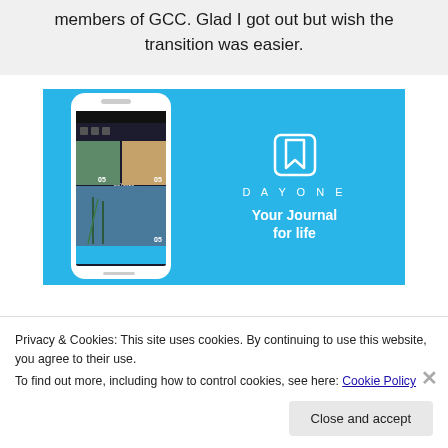members of GCC. Glad I got out but wish the transition was easier.
[Figure (screenshot): DayOne app advertisement on a blue background. Shows a phone mockup with the DayOne journal app interface displaying photos and journal entries. Right side shows the DayOne logo icon (bookmark symbol), wordmark 'DAYONE', and tagline 'Your Journal for life' in white text.]
Privacy & Cookies: This site uses cookies. By continuing to use this website, you agree to their use.
To find out more, including how to control cookies, see here: Cookie Policy